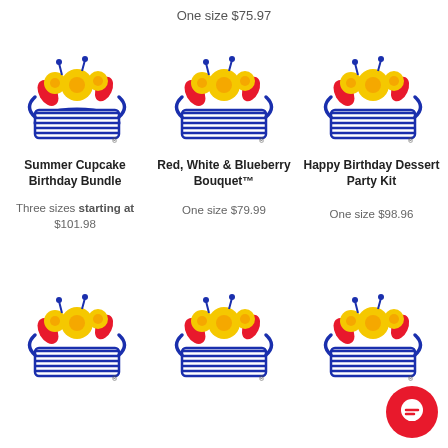One size $75.97
[Figure (logo): Flowerbouquet basket logo - Summer Cupcake Birthday Bundle]
Summer Cupcake Birthday Bundle
Three sizes starting at $101.98
[Figure (logo): Flowerbouquet basket logo - Red, White & Blueberry Bouquet]
Red, White & Blueberry Bouquet™
One size $79.99
[Figure (logo): Flowerbouquet basket logo - Happy Birthday Dessert Party Kit]
Happy Birthday Dessert Party Kit
One size $98.96
[Figure (logo): Flowerbouquet basket logo - bottom left]
[Figure (logo): Flowerbouquet basket logo - bottom center]
[Figure (logo): Flowerbouquet basket logo - bottom right]